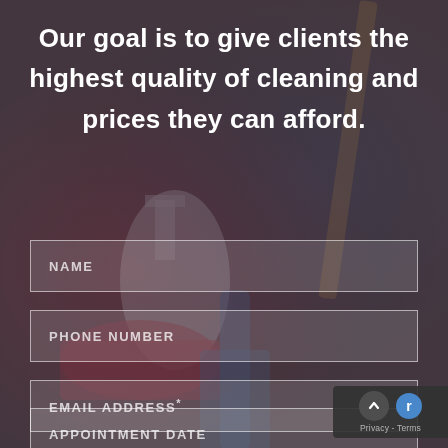[Figure (photo): Background photo of cleaning supplies: spray bottle, mop/broom, red bucket, blue cloth, with dark overlay]
Our goal is to give clients the highest quality of cleaning and prices they can afford.
NAME
PHONE NUMBER
EMAIL ADDRESS*
APPOINTMENT DATE